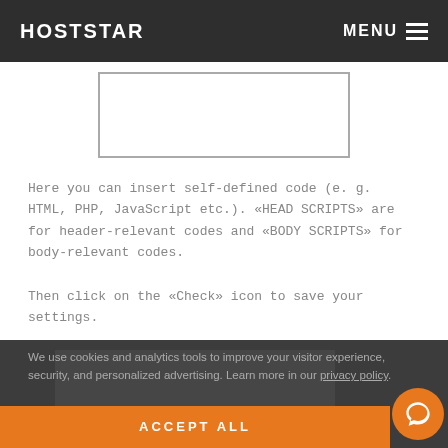HOSTSTAR  MENU
[Figure (screenshot): A rectangular input/text area box with border, representing a code editor or script input field.]
Here you can insert self-defined code (e. g. HTML, PHP, JavaScript etc.). «HEAD SCRIPTS» are for header-relevant codes and «BODY SCRIPTS» for body-relevant codes.
Then click on the «Check» icon to save your settings.
We use cookies and analytics tools to improve your visitor experience, security, and personalized advertising. Learn more in our privacy policy.
ACCEPT ALL